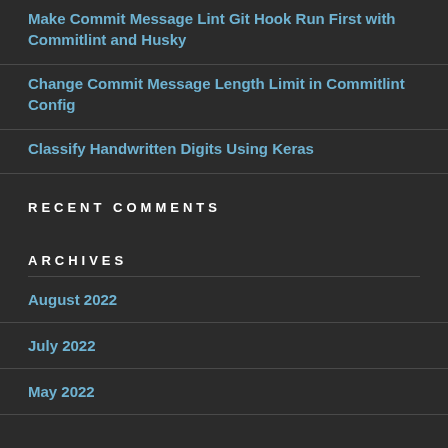Make Commit Message Lint Git Hook Run First with Commitlint and Husky
Change Commit Message Length Limit in Commitlint Config
Classify Handwritten Digits Using Keras
RECENT COMMENTS
ARCHIVES
August 2022
July 2022
May 2022